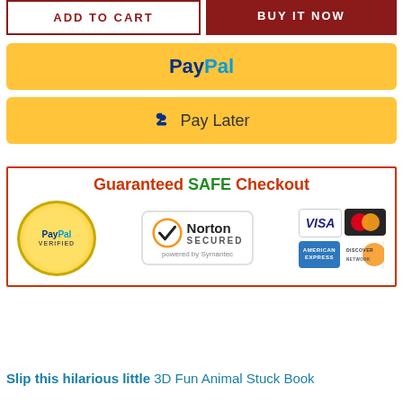[Figure (screenshot): Add to Cart and Buy It Now buttons side by side]
[Figure (screenshot): PayPal payment button (yellow background)]
[Figure (screenshot): Pay Later payment button (yellow background) with PayPal P logo]
[Figure (infographic): Guaranteed SAFE Checkout badge with PayPal Verified, Norton Secured, VISA, MasterCard, American Express, and Discover Network logos]
Slip this hilarious little 3D Fun Animal Stuck Book